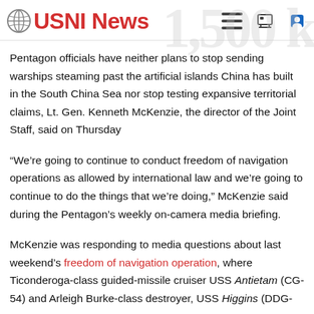USNI News
Pentagon officials have neither plans to stop sending warships steaming past the artificial islands China has built in the South China Sea nor stop testing expansive territorial claims, Lt. Gen. Kenneth McKenzie, the director of the Joint Staff, said on Thursday
“We’re going to continue to conduct freedom of navigation operations as allowed by international law and we’re going to continue to do the things that we’re doing,” McKenzie said during the Pentagon’s weekly on-camera media briefing.
McKenzie was responding to media questions about last weekend’s freedom of navigation operation, where Ticonderoga-class guided-missile cruiser USS Antietam (CG-54) and Arleigh Burke-class destroyer, USS Higgins (DDG-